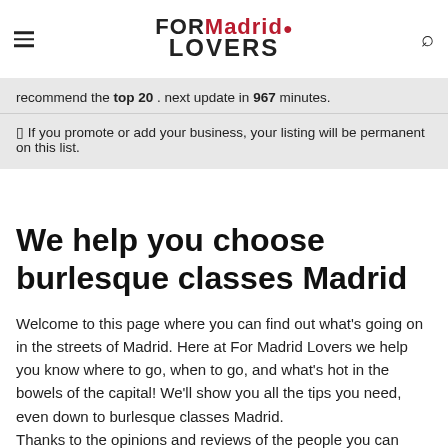FOR Madrid LOVERS
recommend the top 20 . next update in 967 minutes.
⬛ If you promote or add your business, your listing will be permanent on this list.
We help you choose burlesque classes Madrid
Welcome to this page where you can find out what's going on in the streets of Madrid. Here at For Madrid Lovers we help you know where to go, when to go, and what's hot in the bowels of the capital! We'll show you all the tips you need, even down to burlesque classes Madrid.
Thanks to the opinions and reviews of the people you can